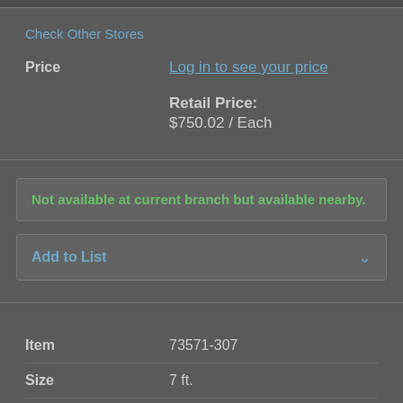Check Other Stores
| Price |  |
| --- | --- |
| Price | Log in to see your price
Retail Price:
$750.02 / Each |
Not available at current branch but available nearby.
Add to List
| Item | Size |
| --- | --- |
| 73571-307 | 7 ft. |